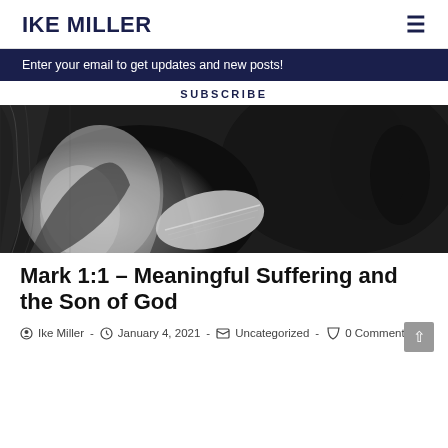IKE MILLER
Enter your email to get updates and new posts!
SUBSCRIBE
[Figure (illustration): Black and white dramatic painting of a robed figure reading from a book or scroll, with other figures in the background]
Mark 1:1 – Meaningful Suffering and the Son of God
Ike Miller · January 4, 2021 · Uncategorized · 0 Comments